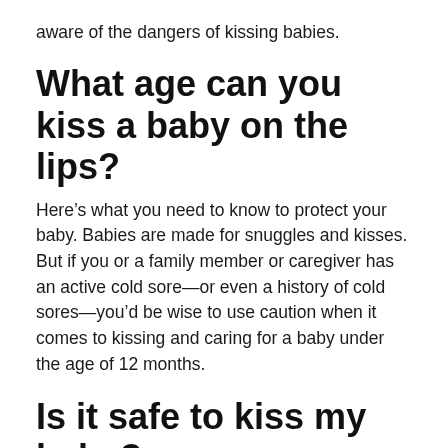aware of the dangers of kissing babies.
What age can you kiss a baby on the lips?
Here’s what you need to know to protect your baby. Babies are made for snuggles and kisses. But if you or a family member or caregiver has an active cold sore—or even a history of cold sores—you’d be wise to use caution when it comes to kissing and caring for a baby under the age of 12 months.
Is it safe to kiss my baby?
No. It’s true that certain respiratory infections and bacteria may play a role in